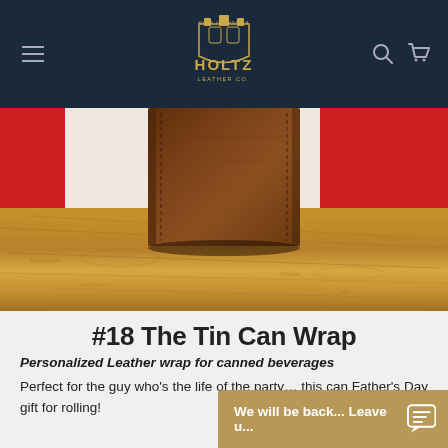Holtz Leather Co. navigation bar with hamburger menu, logo, search and cart icons
[Figure (photo): Close-up product photo of a brown leather tin can wrap sitting on a rustic wooden surface with red background elements]
#18 The Tin Can Wrap
Personalized Leather wrap for canned beverages
Perfect for the guy who's the life of the party... this can Father's Day gift for rolling!
We will be back... Leave u...